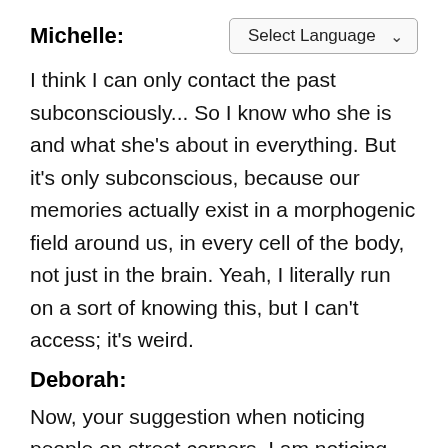Michelle:
I think I can only contact the past subconsciously... So I know who she is and what she's about in everything. But it's only subconscious, because our memories actually exist in a morphogenic field around us, in every cell of the body, not just in the brain. Yeah, I literally run on a sort of knowing this, but I can't access; it's weird.
Deborah:
Now, your suggestion when noticing people on street corners, I am noticing that in the homelessness. I am noticing the